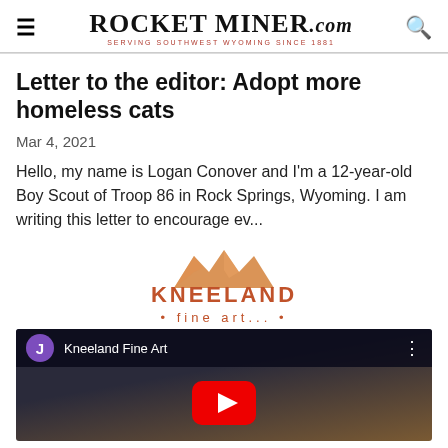Rocket Miner.com — Serving Southwest Wyoming Since 1881
Letter to the editor: Adopt more homeless cats
Mar 4, 2021
Hello, my name is Logan Conover and I'm a 12-year-old Boy Scout of Troop 86 in Rock Springs, Wyoming. I am writing this letter to encourage ev...
[Figure (logo): Kneeland Fine Art logo with mountain graphic above text]
[Figure (screenshot): YouTube video thumbnail for Kneeland Fine Art with play button and user avatar showing J]